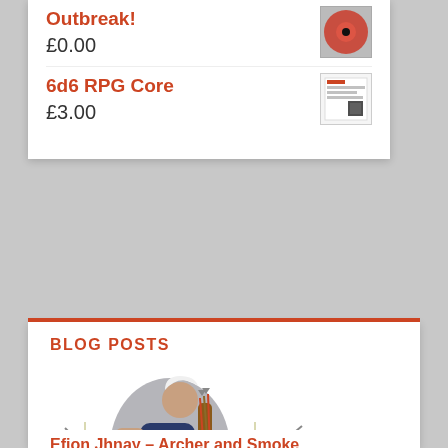Outbreak!
£0.00
6d6 RPG Core
£3.00
BLOG POSTS
[Figure (illustration): Fantasy archer character kneeling with a crossbow and quiver of arrows, dressed in dark blue outfit]
Efion Jhnay – Archer and Smoke